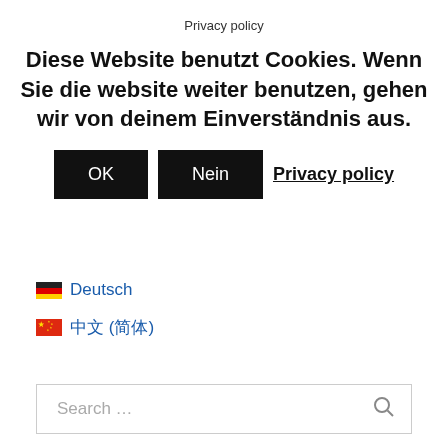Privacy policy
Diese Website benutzt Cookies. Wenn Sie die website weiter benutzen, gehen wir von deinem Einverständnis aus.
OK  Nein  Privacy policy
17 various dialects!
🇩🇪 Deutsch
🇨🇳 中文 (简体)
Search …